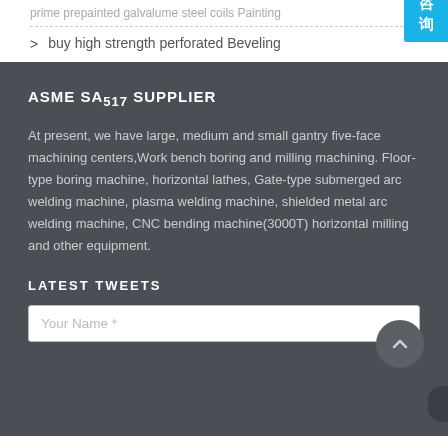prime prepainted galvalume steel coils Painting
buy high strength perforated Beveling
ASME SA517 SUPPLIER
At present, we have large, medium and small gantry five-face machining centers,Work bench boring and milling machining. Floor-type boring machine, horizontal lathes, Gate-type submerged arc welding machine, plasma welding machine, shielded metal arc welding machine, CNC bending machine(3000T) horizontal milling and other equipment.
LATEST TWEETS
Your Name *